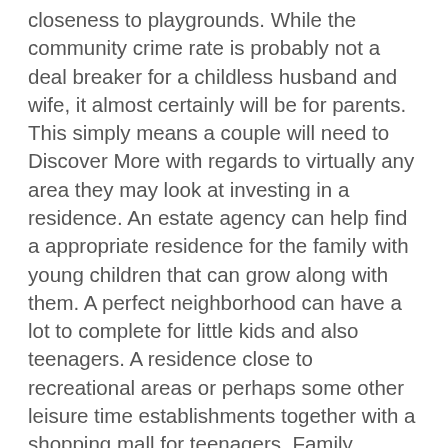closeness to playgrounds. While the community crime rate is probably not a deal breaker for a childless husband and wife, it almost certainly will be for parents. This simply means a couple will need to Discover More with regards to virtually any area they may look at investing in a residence. An estate agency can help find a appropriate residence for the family with young children that can grow along with them. A perfect neighborhood can have a lot to complete for little kids and also teenagers. A residence close to recreational areas or perhaps some other leisure time establishments together with a shopping mall for teenagers. Family members frequently don't want to relocate for the reason that there are no longer enough activities for his or her older kids. The very best agent is going to pay attention to their clients as they look at available residences, pay attention to their demands along with click resources that will assist them on their own investigation. A sympathetic and experienced estate agent will certainly invest enough time to their buyers' situation to ensure they find the best house. In